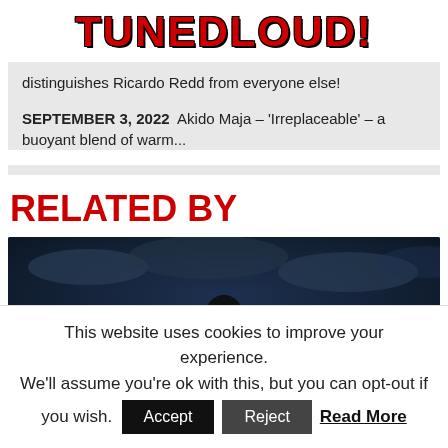TUNEDLOUD!
distinguishes Ricardo Redd from everyone else!
SEPTEMBER 3, 2022  Akido Maja – 'Irreplaceable' – a buoyant blend of warm...
RELATED BY
[Figure (photo): Dark atmospheric photo of a person silhouetted against a dramatic night sky with clouds]
This website uses cookies to improve your experience. We'll assume you're ok with this, but you can opt-out if you wish. Accept  Reject  Read More